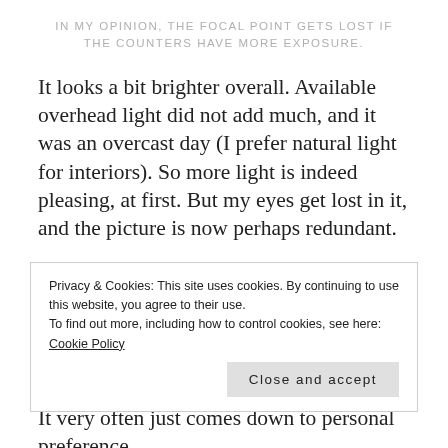IN MY OPINION, THE FOCAL POINT GETS LOST IF THE COUNTERS HAVE MORE EXPOSURE.
It looks a bit brighter overall. Available overhead light did not add much, and it was an overcast day (I prefer natural light for interiors). So more light is indeed pleasing, at first. But my eyes get lost in it, and the picture is now perhaps redundant.
In the first picture, my eyes go directly to the table and windows. In the second, I eventually get there but only after darting around.
Privacy & Cookies: This site uses cookies. By continuing to use this website, you agree to their use.
To find out more, including how to control cookies, see here: Cookie Policy
Close and accept
It very often just comes down to personal preference